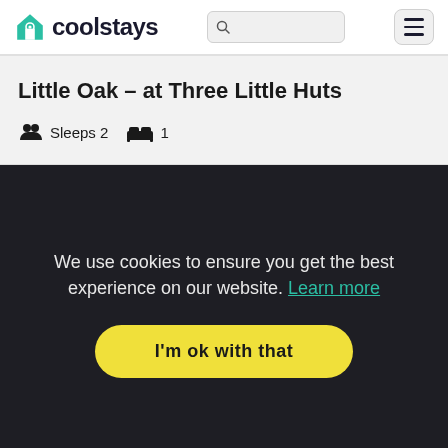coolstays
Little Oak – at Three Little Huts
Sleeps 2   1
We use cookies to ensure you get the best experience on our website. Learn more
I'm ok with that